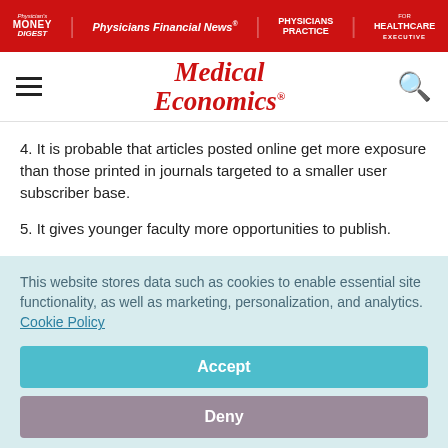Physician's Money Digest | Physicians Financial News | Physicians Practice | Healthcare Executive
Medical Economics
4. It is probable that articles posted online get more exposure than those printed in journals targeted to a smaller user subscriber base.
5. It gives younger faculty more opportunities to publish.
This website stores data such as cookies to enable essential site functionality, as well as marketing, personalization, and analytics. Cookie Policy
Accept
Deny